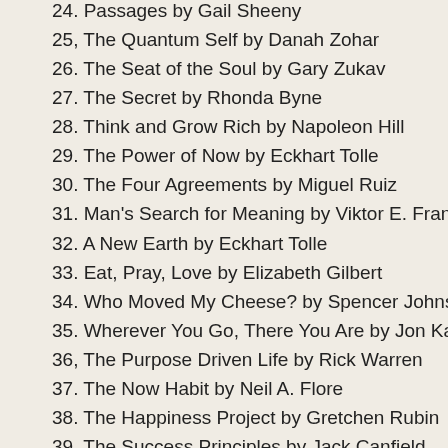24. Passages by Gail Sheeny
25, The Quantum Self by Danah Zohar
26. The Seat of the Soul by Gary Zukav
27. The Secret by Rhonda Byne
28. Think and Grow Rich by Napoleon Hill
29. The Power of Now by Eckhart Tolle
30. The Four Agreements by Miguel Ruiz
31. Man's Search for Meaning by Viktor E. Frankl
32. A New Earth by Eckhart Tolle
33. Eat, Pray, Love by Elizabeth Gilbert
34. Who Moved My Cheese? by Spencer Johnson
35. Wherever You Go, There You Are by Jon Kabat-Z
36, The Purpose Driven Life by Rick Warren
37. The Now Habit by Neil A. Flore
38. The Happiness Project by Gretchen Rubin
39. The Success Principles by Jack Canfield
40. Women Who Love Too Much by Robin Norwood
41. Daring Greatly by Brene Brown
42. The Power of Awareness by ...